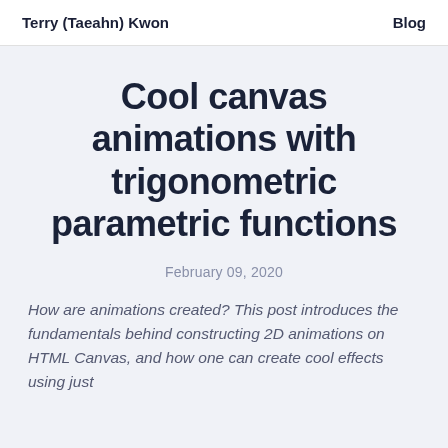Terry (Taeahn) Kwon   Blog
Cool canvas animations with trigonometric parametric functions
February 09, 2020
How are animations created? This post introduces the fundamentals behind constructing 2D animations on HTML Canvas, and how one can create cool effects using just